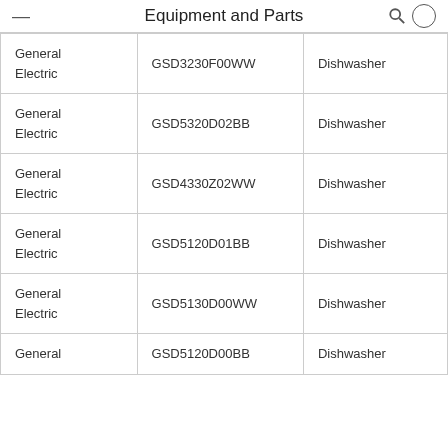Equipment and Parts
| General Electric | GSD3230F00WW | Dishwasher |
| General Electric | GSD5320D02BB | Dishwasher |
| General Electric | GSD4330Z02WW | Dishwasher |
| General Electric | GSD5120D01BB | Dishwasher |
| General Electric | GSD5130D00WW | Dishwasher |
| General | GSD5120D00BB | Dishwasher |